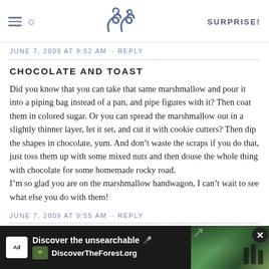SK | SURPRISE!
JUNE 7, 2009 AT 9:52 AM ·· REPLY
CHOCOLATE AND TOAST
Did you know that you can take that same marshmallow and pour it into a piping bag instead of a pan, and pipe figures with it? Then coat them in colored sugar. Or you can spread the marshmallow out in a slightly thinner layer, let it set, and cut it with cookie cutters? Then dip the shapes in chocolate, yum. And don't waste the scraps if you do that, just toss them up with some mixed nuts and then douse the whole thing with chocolate for some homemade rocky road.
I'm so glad you are on the marshmallow bandwagon, I can't wait to see what else you do with them!
JUNE 7, 2009 AT 9:55 AM ·· REPLY
[Figure (screenshot): Ad banner: 'Discover the unsearchable / DiscoverTheForest.org' with forest photo background and close button]